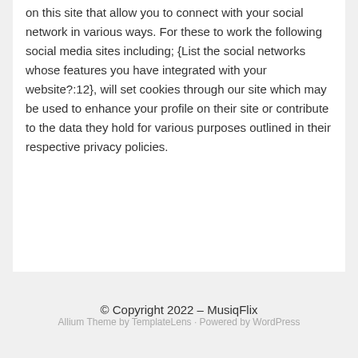on this site that allow you to connect with your social network in various ways. For these to work the following social media sites including; {List the social networks whose features you have integrated with your website?:12}, will set cookies through our site which may be used to enhance your profile on their site or contribute to the data they hold for various purposes outlined in their respective privacy policies.
© Copyright 2022 – MusiqFlix
Allium Theme by TemplateLens · Powered by WordPress